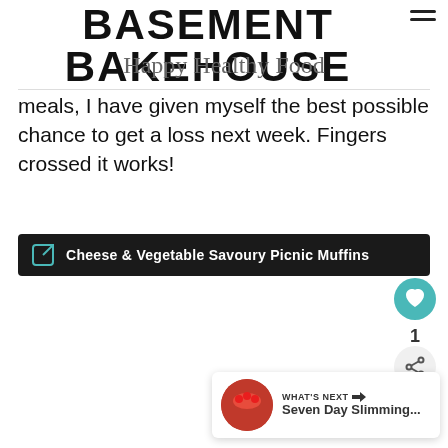BASEMENT BAKEHOUSE
Happy Healthy Food
meals, I have given myself the best possible chance to get a loss next week. Fingers crossed it works!
Cheese & Vegetable Savoury Picnic Muffins
1
[Figure (other): What's Next panel with thumbnail image and title 'Seven Day Slimming...']